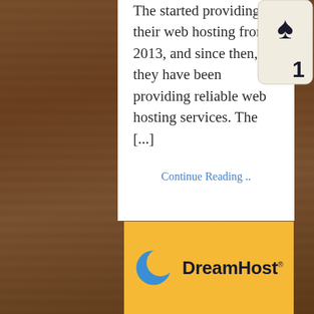The started providing their web hosting from 2013, and since then, they have been providing reliable web hosting services. The [...]
Continue Reading ..
[Figure (logo): DreamHost logo on an orange/yellow background. Blue crescent moon icon to the left of bold dark text reading 'DreamHost' with a small superscript registered trademark or similar symbol.]